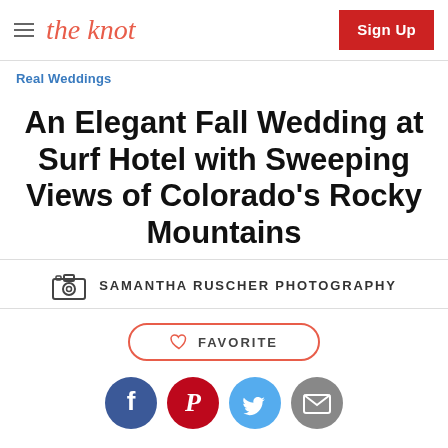the knot | Sign Up
Real Weddings
An Elegant Fall Wedding at Surf Hotel with Sweeping Views of Colorado's Rocky Mountains
SAMANTHA RUSCHER PHOTOGRAPHY
♡ FAVORITE
[Figure (illustration): Social sharing icons: Facebook (blue circle with f), Pinterest (red circle with P), Twitter (light blue circle with bird), Email (gray circle with envelope). Partially visible at bottom of page.]